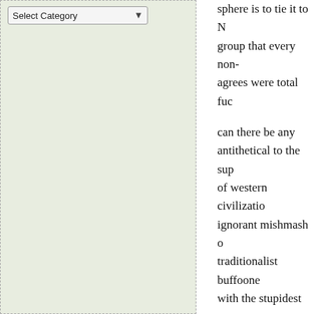[Figure (screenshot): Left sidebar panel with light green background containing a 'Select Category' dropdown widget]
sphere is to tie it to N... group that every non-... agrees were total fuc...
can there be any... antithetical to the sup... of western civilizatio... ignorant mishmash o... traditionalist buffoone... with the stupidest exc... modernity into a gia... sandwich of tedious f... shoots its own dick o... as a warning to other...
the punishment f... mediocrity should inv... tied to a chair in front... simulated Samuel L.... screaming "you dens... motherfucker!" on loo...